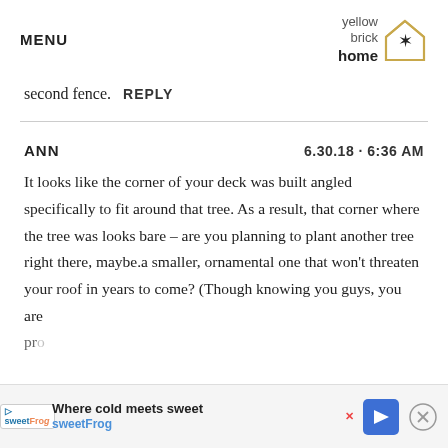MENU | yellow brick home [logo]
second fence.  REPLY
ANN   6.30.18 · 6:36 AM
It looks like the corner of your deck was built angled specifically to fit around that tree. As a result, that corner where the tree was looks bare – are you planning to plant another tree right there, maybe.a smaller, ornamental one that won't threaten your roof in years to come? (Though knowing you guys, you are probably…only…
[Figure (other): Advertisement bar at bottom: sweetFrog 'Where cold meets sweet' with navigation arrow icon and close button]